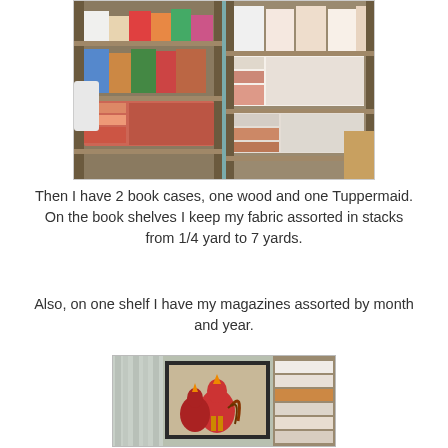[Figure (photo): Photo of wooden and plastic book cases/shelves stacked with folded fabric in various colors, taken in a room with teal walls and a toilet visible on the left.]
Then I have 2 book cases, one wood and one Tuppermaid. On the book shelves I keep my fabric assorted in stacks from 1/4 yard to 7 yards.
Also, on one shelf I have my magazines assorted by month and year.
[Figure (photo): Photo showing a shelf area with fabric stacks and a framed quilt or artwork depicting roosters on the wall, with curtains visible.]